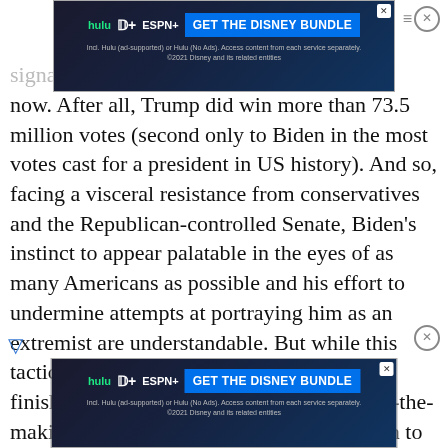[Figure (screenshot): Top advertisement banner for Disney Bundle (Hulu, Disney+, ESPN+)]
signal … for now. After all, Trump did win more than 73.5 million votes (second only to Biden in the most votes cast for a president in US history). And so, facing a visceral resistance from conservatives and the Republican-controlled Senate, Biden's instinct to appear palatable in the eyes of as many Americans as possible and his effort to undermine attempts at portraying him as an extremist are understandable. But while this tactic was sufficient to get him just over the finish line in the race to unseat a dictator-in-the-making, it will most certainly not be enough to make him a succes…
[Figure (screenshot): Bottom advertisement banner for Disney Bundle (Hulu, Disney+, ESPN+)]